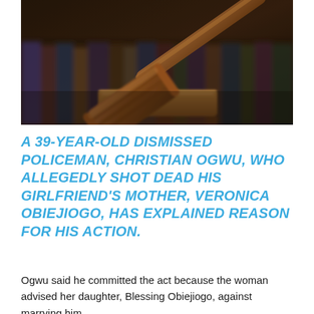[Figure (photo): Close-up photograph of a wooden judge's gavel resting on a sound block, with stacked law books blurred in the background. Warm brown tones.]
A 39-YEAR-OLD DISMISSED POLICEMAN, CHRISTIAN OGWU, WHO ALLEGEDLY SHOT DEAD HIS GIRLFRIEND'S MOTHER, VERONICA OBIEJIOGO, HAS EXPLAINED REASON FOR HIS ACTION.
Ogwu said he committed the act because the woman advised her daughter, Blessing Obiejiogo, against marrying him.